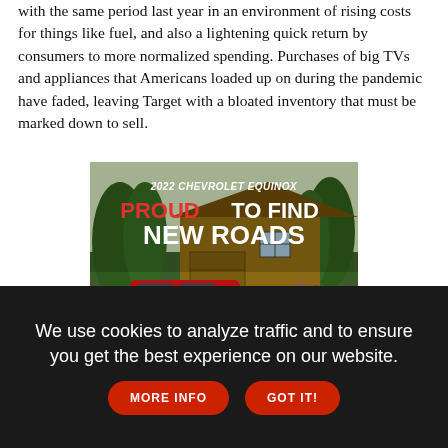with the same period last year in an environment of rising costs for things like fuel, and also a lightening quick return by consumers to more normalized spending. Purchases of big TVs and appliances that Americans loaded up on during the pandemic have faded, leaving Target with a bloated inventory that must be marked down to sell.
[Figure (photo): Advertisement for 2022 Chevrolet Equinox showing a red SUV parked in front of a house with two people walking, with text 'PROUD TO FIND NEW ROADS']
We use cookies to analyze traffic and to ensure you get the best experience on our website. MORE INFO GOT IT!